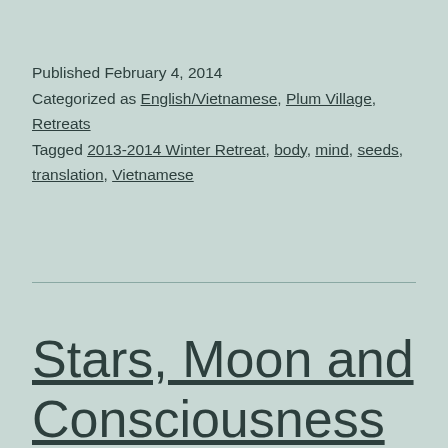Published February 4, 2014
Categorized as English/Vietnamese, Plum Village, Retreats
Tagged 2013-2014 Winter Retreat, body, mind, seeds, translation, Vietnamese
Stars, Moon and Consciousness